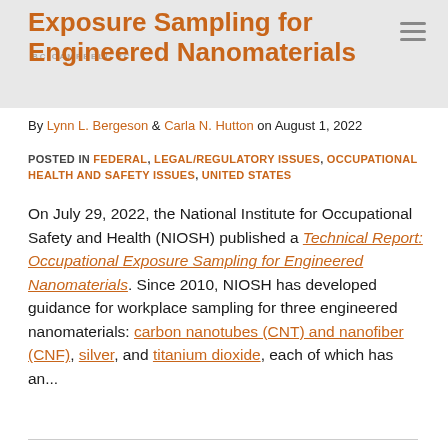Exposure Sampling for Engineered Nanomaterials
By Lynn L. Bergeson & Carla N. Hutton on August 1, 2022
POSTED IN FEDERAL, LEGAL/REGULATORY ISSUES, OCCUPATIONAL HEALTH AND SAFETY ISSUES, UNITED STATES
On July 29, 2022, the National Institute for Occupational Safety and Health (NIOSH) published a Technical Report: Occupational Exposure Sampling for Engineered Nanomaterials. Since 2010, NIOSH has developed guidance for workplace sampling for three engineered nanomaterials: carbon nanotubes (CNT) and nanofiber (CNF), silver, and titanium dioxide, each of which has an...